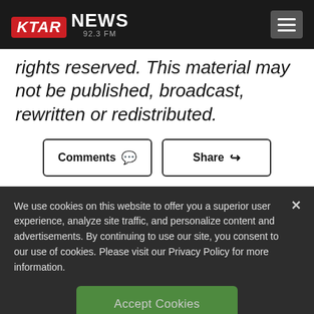KTAR NEWS 92.3 FM
rights reserved. This material may not be published, broadcast, rewritten or redistributed.
Comments  Share
We use cookies on this website to offer you a superior user experience, analyze site traffic, and personalize content and advertisements. By continuing to use our site, you consent to our use of cookies. Please visit our Privacy Policy for more information.
Accept Cookies